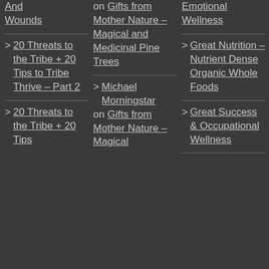And Wounds
> 20 Threats to the Tribe + 20 Tips to Tribe Thrive – Part 2
> 20 Threats to the Tribe + 20 Tips to Tri...
on Gifts from Mother Nature – Magical and Medicinal Pine Trees
Michael Morningstar on Gifts from Mother Nature – Magical...
Emotional Wellness
> Great Nutrition – Nutrient Dense Organic Whole Foods
> Great Success & Occupational Wellness